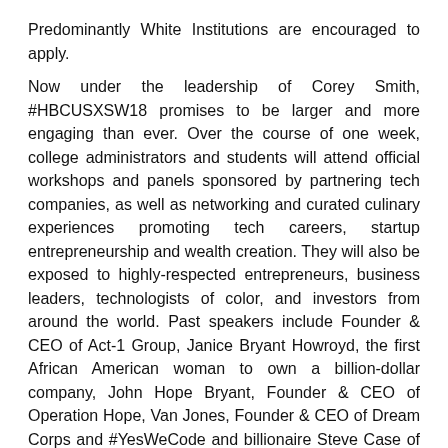Predominantly White Institutions are encouraged to apply.

Now under the leadership of Corey Smith, #HBCUSXSW18 promises to be larger and more engaging than ever. Over the course of one week, college administrators and students will attend official workshops and panels sponsored by partnering tech companies, as well as networking and curated culinary experiences promoting tech careers, startup entrepreneurship and wealth creation. They will also be exposed to highly-respected entrepreneurs, business leaders, technologists of color, and investors from around the world. Past speakers include Founder & CEO of Act-1 Group, Janice Bryant Howroyd, the first African American woman to own a billion-dollar company, John Hope Bryant, Founder & CEO of Operation Hope, Van Jones, Founder & CEO of Dream Corps and #YesWeCode and billionaire Steve Case of AOL and Revolution Fund. A #DiversifySXSW House and #YesWeCodeFund Fundraiser are planned.